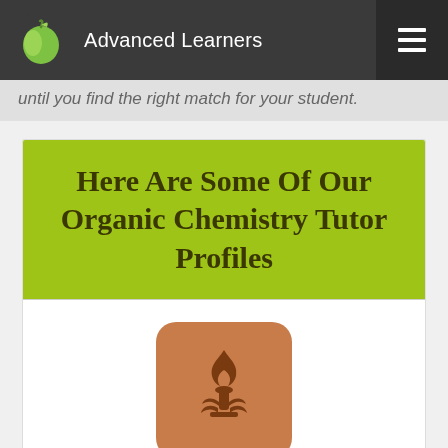Advanced Learners
until you find the right match for your student.
Here Are Some Of Our Organic Chemistry Tutor Profiles
[Figure (illustration): Tutor profile avatar icon: orange/tan rounded square with a flame and laurel wreath torch emblem in dark brown]
Parth P
Teaching Style